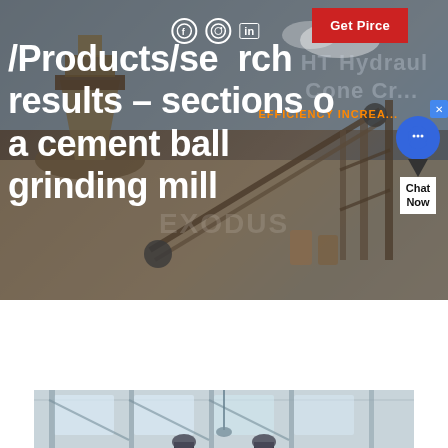[Figure (screenshot): Industrial mining/cement plant machinery background photo with conveyor belts, crushing equipment, and construction structures against a partly cloudy sky. Overlaid with a red 'Get Pirce' button, social media icons (Facebook, Instagram, LinkedIn), a chat widget on the right, watermark text, and large white bold text overlay.]
/Products/search results - sections of a cement ball grinding mill
[Figure (photo): Interior industrial building photo showing structural steel framework, roof trusses, and industrial equipment partially visible at bottom of frame.]